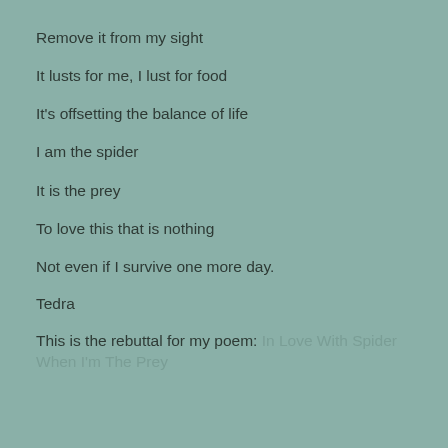Remove it from my sight
It lusts for me, I lust for food
It's offsetting the balance of life
I am the spider
It is the prey
To love this that is nothing
Not even if I survive one more day.
Tedra
This is the rebuttal for my poem: In Love With Spider When I'm The Prey